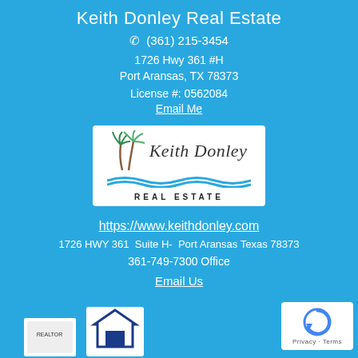Keith Donley Real Estate
☎  (361) 215-3454
1726 Hwy 361 #H
Port Aransas, TX 78373
License #: 0562084
Email Me
[Figure (logo): Keith Donley Real Estate logo with palm trees and ocean waves]
https://www.keithdonley.com
1726 HWY 361  Suite H-  Port Aransas Texas 78373
361-749-7300 Office
Email Us
[Figure (logo): Equal housing logo and realtor badge icons at bottom]
[Figure (logo): reCAPTCHA badge - Privacy Terms]